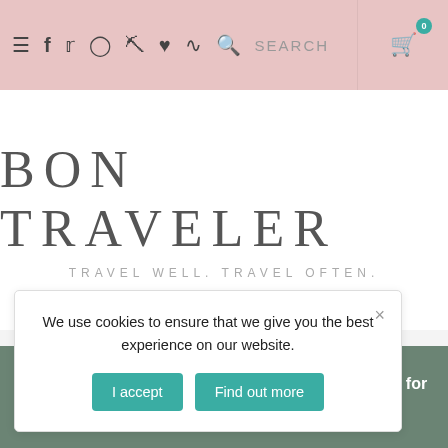≡ f 𝕏 Instagram Pinterest ♥ RSS 🔍 SEARCH 🛒 0
BON TRAVELER
TRAVEL WELL. TRAVEL OFTEN.
We use cookies to ensure that we give you the best experience on our website.
I accept   Find out more
A Slow Travel Guide To
Check out my new membership based community for travelers!  Dismiss